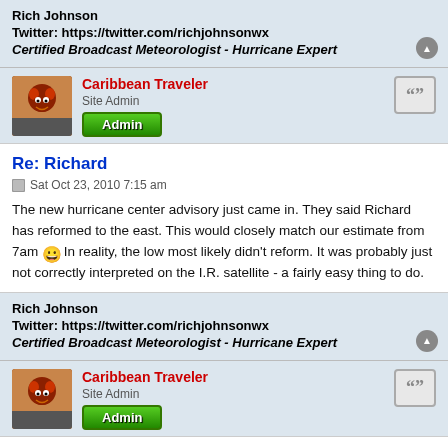Rich Johnson
Twitter: https://twitter.com/richjohnsonwx
Certified Broadcast Meteorologist - Hurricane Expert
Caribbean Traveler
Site Admin
Admin
Re: Richard
Sat Oct 23, 2010 7:15 am
The new hurricane center advisory just came in. They said Richard has reformed to the east. This would closely match our estimate from 7am :) In reality, the low most likely didn't reform. It was probably just not correctly interpreted on the I.R. satellite - a fairly easy thing to do.
Rich Johnson
Twitter: https://twitter.com/richjohnsonwx
Certified Broadcast Meteorologist - Hurricane Expert
Caribbean Traveler
Site Admin
Admin
Re: Richard
Sat Oct 23, 2010 3:55 pm